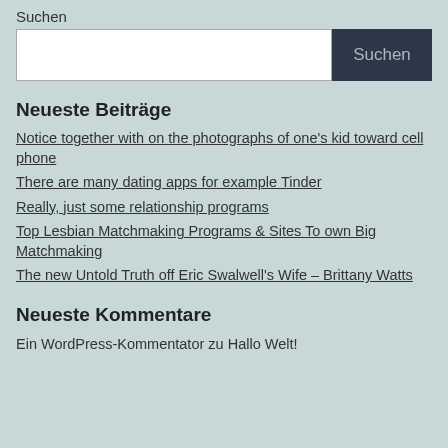Suchen
Suchen [search input and button]
Neueste Beiträge
Notice together with on the photographs of one's kid toward cell phone
There are many dating apps for example Tinder
Really, just some relationship programs
Top Lesbian Matchmaking Programs & Sites To own Big Matchmaking
The new Untold Truth off Eric Swalwell's Wife – Brittany Watts
Neueste Kommentare
Ein WordPress-Kommentator zu Hallo Welt!